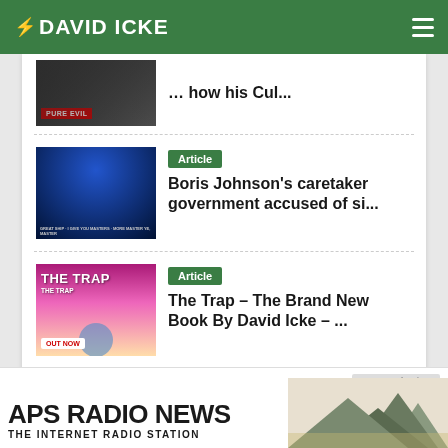DAVID ICKE
[Figure (screenshot): Thumbnail image with PURE EVIL label for first article]
… how his Cul...
[Figure (photo): Thumbnail image of Boris Johnson for second article]
Article
Boris Johnson's caretaker government accused of si...
[Figure (photo): Thumbnail image for The Trap book - OUT NOW]
Article
The Trap – The Brand New Book By David Icke – ...
[Figure (screenshot): APS Radio News advertisement banner - The Internet Radio Station]